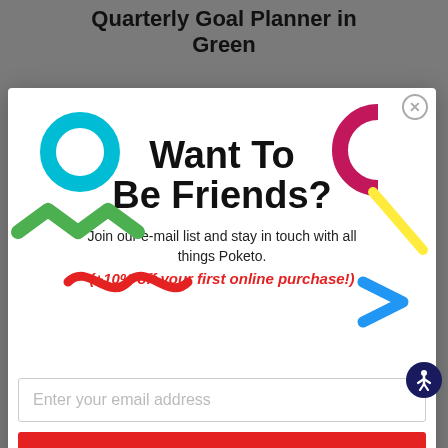Quarterly Goal Planner in Green
[Figure (screenshot): Email subscription popup modal with decorative colorful shapes. Contains bold headline 'Want To Be Friends?', subtitle text, promo offer, email input field, and Subscribe button.]
A quarter is an ideal amount of time for setting and